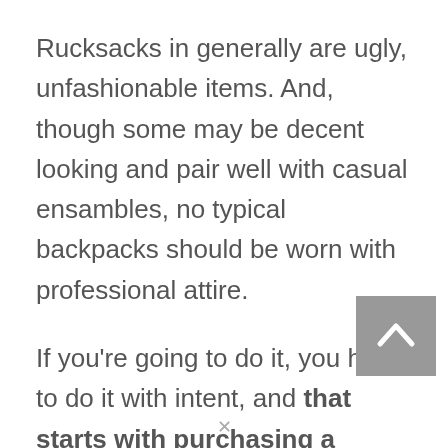Rucksacks in generally are ugly, unfashionable items. And, though some may be decent looking and pair well with casual ensambles, no typical backpacks should be worn with professional attire.
If you're going to do it, you have to do it with intent, and that starts with purchasing a 'fashion backpack'.
Typically fully leather, on the smaller side and with metal detailing, fashion backpacks are statement pieces which